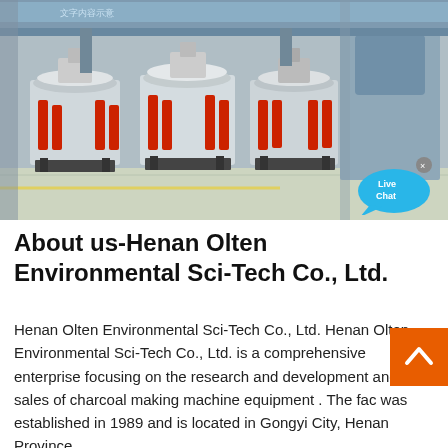[Figure (photo): Factory floor showing industrial cone crusher / grinding machines in a row on metal stands, with red hydraulic cylinders, inside a large manufacturing facility with blue steel frame structure.]
About us-Henan Olten Environmental Sci-Tech Co., Ltd.
Henan Olten Environmental Sci-Tech Co., Ltd. Henan Olten Environmental Sci-Tech Co., Ltd. is a comprehensive enterprise focusing on the research and development and sales of charcoal making machine equipment . The fac was established in 1989 and is located in Gongyi City, Henan Province.